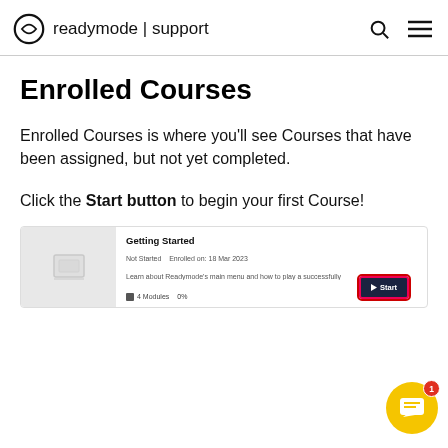readymode | support
Enrolled Courses
Enrolled Courses is where you'll see Courses that have been assigned, but not yet completed.
Click the Start button to begin your first Course!
[Figure (screenshot): Course card for 'Getting Started' showing Not Started status, enrolled date 18 Mar 2023, description text, 4 Modules count, 0% progress, and a dark Start button with red border highlight]